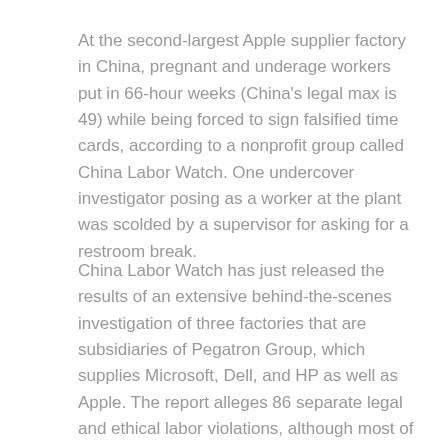At the second-largest Apple supplier factory in China, pregnant and underage workers put in 66-hour weeks (China's legal max is 49) while being forced to sign falsified time cards, according to a nonprofit group called China Labor Watch. One undercover investigator posing as a worker at the plant was scolded by a supervisor for asking for a restroom break.
China Labor Watch has just released the results of an extensive behind-the-scenes investigation of three factories that are subsidiaries of Pegatron Group, which supplies Microsoft, Dell, and HP as well as Apple. The report alleges 86 separate legal and ethical labor violations, although most of the tech press were more focused on the “scoop” that there is going to be a new, low-cost iPhone.